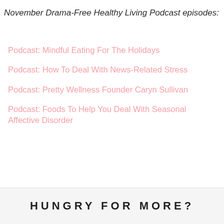November Drama-Free Healthy Living Podcast episodes:
Podcast: Mindful Eating For The Holidays
Podcast: How To Deal With News-Related Stress
Podcast: Pretty Wellness Founder Caryn Sullivan
Podcast: Foods To Help You Deal With Seasonal Affective Disorder
HUNGRY FOR MORE?